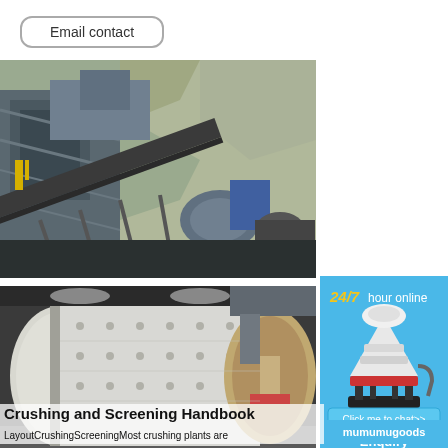Email contact
[Figure (photo): Industrial crushing/screening plant equipment at a quarry site with metal frame structures, conveyor belts, and rocky background]
[Figure (photo): Large industrial ball mill or drum equipment in a factory/warehouse setting, white/grey cylindrical vessel with bolted panels]
[Figure (infographic): Blue sidebar advertisement with '24/7 hour online' text, cone crusher machine image, 'Click me to chat>>' button, 'Enquiry' text, and 'mumumugoods' branding]
Crushing and Screening Handbook
LayoutCrushingScreeningMost crushing plants are